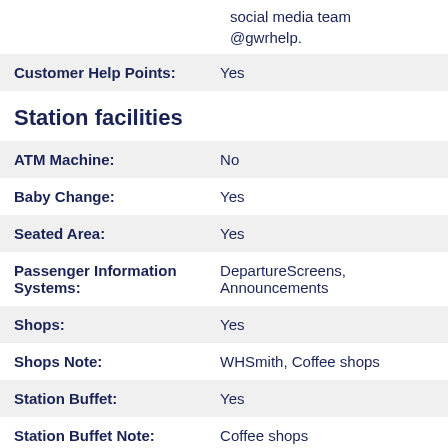social media team @gwrhelp.
| Customer Help Points: | Yes |
Station facilities
| ATM Machine: | No |
| Baby Change: | Yes |
| Seated Area: | Yes |
| Passenger Information Systems: | DepartureScreens, Announcements |
| Shops: | Yes |
| Shops Note: | WHSmith, Coffee shops |
| Station Buffet: | Yes |
| Station Buffet Note: | Coffee shops |